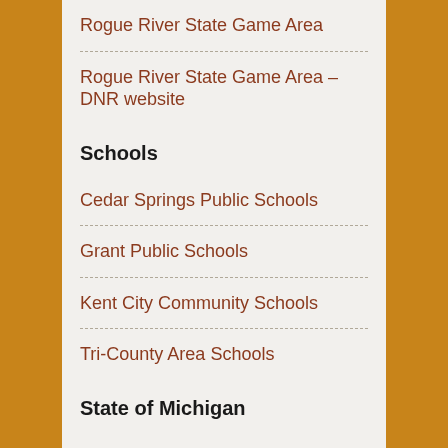Rogue River State Game Area
Rogue River State Game Area – DNR website
Schools
Cedar Springs Public Schools
Grant Public Schools
Kent City Community Schools
Tri-County Area Schools
State of Michigan
Michigan Municipal Guide